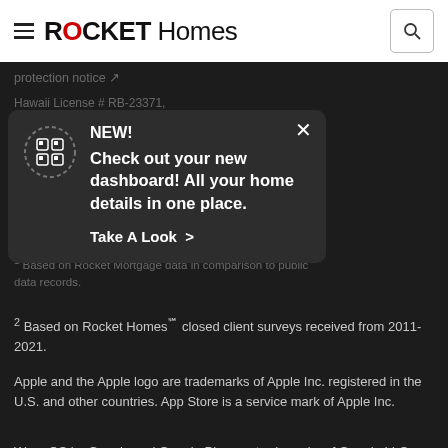ROCKET Homes
[Figure (screenshot): Rocket Homes website header with hamburger menu, Rocket Homes logo and search button on white background]
protection notice
Hawaii License # RB-23371, Principal
[Figure (infographic): Dark popup notification with animated QR/grid icon, NEW! heading, text: Check out your new dashboard! All your home details in one place. Take A Look > CTA, with X close button]
1 Based on Rocket Mortgage data in comparison to public data records.
2 Based on Rocket HomesS℠ closed client surveys received from 2011-2021.
Apple and the Apple logo are trademarks of Apple Inc. registered in the U.S. and other countries. App Store is a service mark of Apple Inc.
Wear OS by Google and Google Play are trademarks of Google LLC.